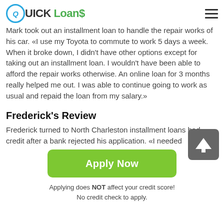QUICK Loans
Mark took out an installment loan to handle the repair works of his car. «I use my Toyota to commute to work 5 days a week. When it broke down, I didn't have other options except for taking out an installment loan. I wouldn't have been able to afford the repair works otherwise. An online loan for 3 months really helped me out. I was able to continue going to work as usual and repaid the loan from my salary.»
Frederick's Review
Frederick turned to North Charleston installment loans bad credit after a bank rejected his application. «I needed
[Figure (other): Green 'Apply Now' button]
Applying does NOT affect your credit score!
No credit check to apply.